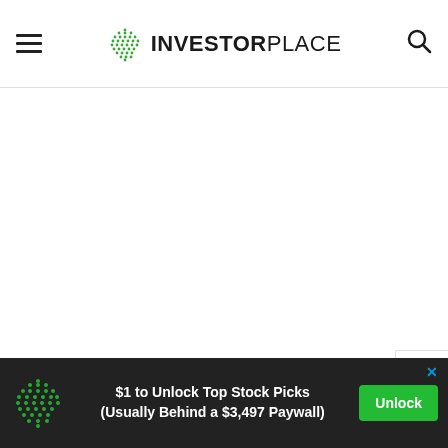INVESTORPLACE
TO BUY NOW
[Figure (other): Advertisement banner: InvestorPlace globe logo with text '$1 to Unlock Top Stock Picks (Usually Behind a $3,497 Paywall)' and green Unlock button]